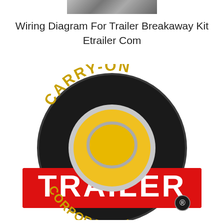[Figure (photo): Small cropped photo of a trailer breakaway kit component at top center]
Wiring Diagram For Trailer Breakaway Kit Etrailer Com
[Figure (logo): Carry-On Trailer Corporation logo — circular black badge with gold CARRY-ON text on top arc, gold CORPORATION text on bottom arc, yellow/gold center circle with chrome ring, and a wide red horizontal banner across the middle reading TRAILER in large white bold letters. Registered trademark symbol at bottom right.]